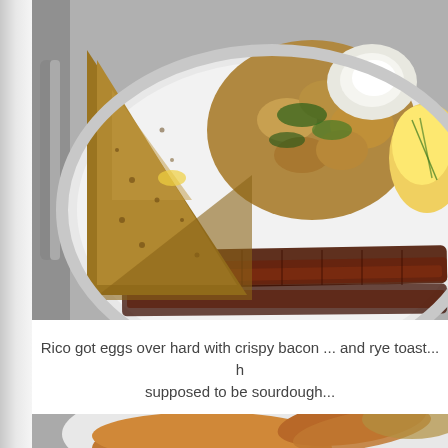[Figure (photo): A plate of breakfast food with eggs over hard, crispy bacon strips, rye toast triangle, home fries/potatoes with herbs and sour cream dollop. Plate is on a gray diner table with utensils visible on the left.]
Rico got eggs over hard with crispy bacon ... and rye toast... h supposed to be sourdough...
[Figure (photo): Partial view of a breakfast plate with pancakes and sausage links, bottom of image cropped.]